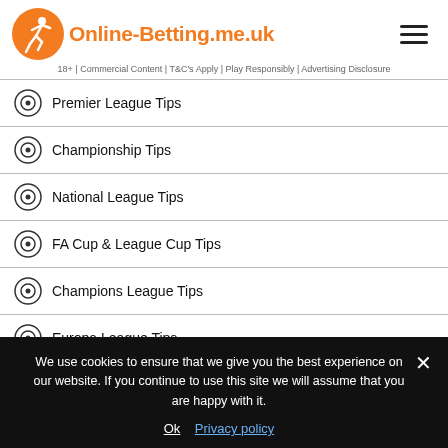Online-Betting.me.uk
18+ | Commercial Content | T&C's Apply | Play Responsibly | Advertising Disclosure
Premier League Tips
Championship Tips
National League Tips
FA Cup & League Cup Tips
Champions League Tips
Europa League Tips
International Football Tips
We use cookies to ensure that we give you the best experience on our website. If you continue to use this site we will assume that you are happy with it.
Ok   Privacy policy